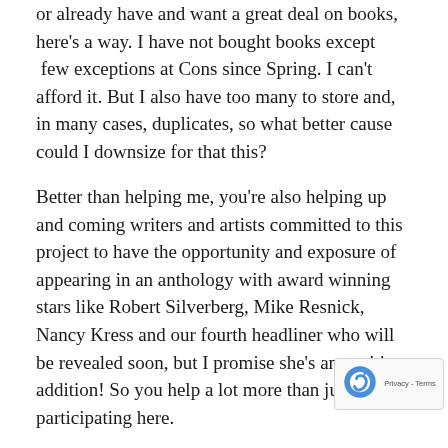or already have and want a great deal on books, here's a way. I have not bought books except  few exceptions at Cons since Spring. I can't afford it. But I also have too many to store and, in many cases, duplicates, so what better cause could I downsize for that this?
Better than helping me, you're also helping up and coming writers and artists committed to this project to have the opportunity and exposure of appearing in an anthology with award winning stars like Robert Silverberg, Mike Resnick, Nancy Kress and our fourth headliner who will be revealed soon, but I promise she's an exciting addition! So you help a lot more than just me by participating here.
How It Works:  Books Sell As Marked. You email br bryan thomas schmidt dot net (no spaces) and tell me